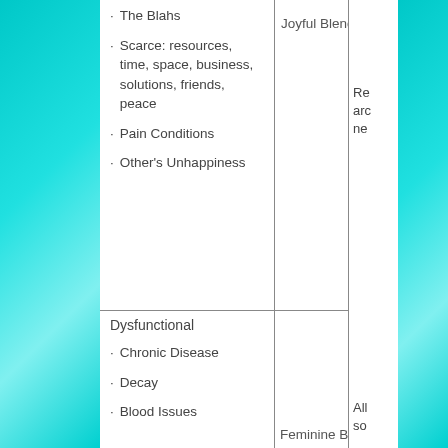The Blahs
Scarce: resources, time, space, business, solutions, friends, peace
Pain Conditions
Other's Unhappiness
Joyful Blend
Re... arc... ne...
Dysfunctional
Chronic Disease
Decay
Blood Issues
Feminine Blend
All... so...